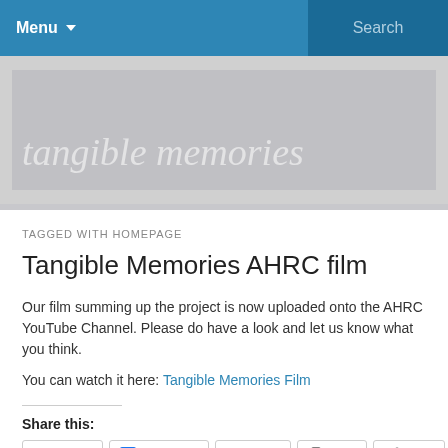Menu  Search
[Figure (logo): Tangible Memories website header banner with logo text 'tangible memories' in italic serif font on a light grey background]
TAGGED WITH HOMEPAGE
Tangible Memories AHRC film
Our film summing up the project is now uploaded onto the AHRC YouTube Channel. Please do have a look and let us know what you think.

You can watch it here: Tangible Memories Film
Share this: Twitter Facebook Email Print More